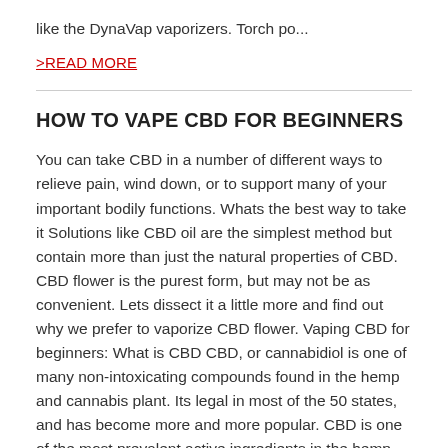like the DynaVap vaporizers. Torch po...
>READ MORE
HOW TO VAPE CBD FOR BEGINNERS
You can take CBD in a number of different ways to relieve pain, wind down, or to support many of your important bodily functions. Whats the best way to take it Solutions like CBD oil are the simplest method but contain more than just the natural properties of CBD. CBD flower is the purest form, but may not be as convenient. Lets dissect it a little more and find out why we prefer to vaporize CBD flower. Vaping CBD for beginners: What is CBD CBD, or cannabidiol is one of many non-intoxicating compounds found in the hemp and cannabis plant. Its legal in most of the 50 states, and has become more and more popular. CBD is one of the most prevalent active ingredients in the hemp plant, but it doesnt cause a high like THC. Instead, it works quietly in the background and works in a variety of